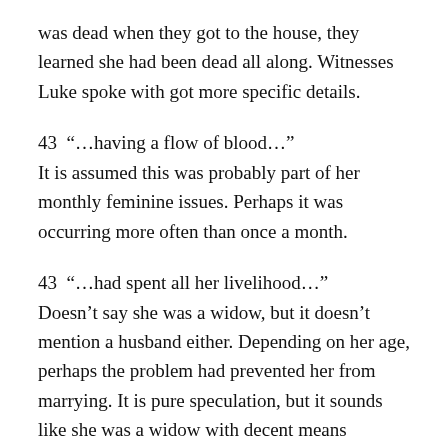was dead when they got to the house, they learned she had been dead all along.  Witnesses Luke spoke with got more specific details.
43  “…having a flow of blood…”
It is assumed this was probably part of her monthly feminine issues.  Perhaps it was occurring more often than once a month.
43  “…had spent all her livelihood…”
Doesn’t say she was a widow, but it doesn’t mention a husband either.  Depending on her age, perhaps the problem had prevented her from marrying.  It is pure speculation, but it sounds like she was a widow with decent means originally, but the physical issue had caused her to use up all her provisions.  Now she had